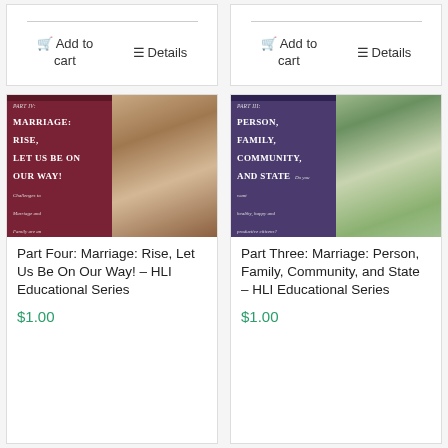[Figure (screenshot): Add to cart and Details buttons for first product (top left)]
[Figure (screenshot): Add to cart and Details buttons for second product (top right)]
[Figure (photo): Book cover: Part IV: Marriage: Rise, Let Us Be On Our Way! - dark red/maroon background with family photo]
Part Four: Marriage: Rise, Let Us Be On Our Way! – HLI Educational Series
$1.00
[Figure (photo): Book cover: Part III: Person, Family, Community, and State - purple background with family photo]
Part Three: Marriage: Person, Family, Community, and State – HLI Educational Series
$1.00